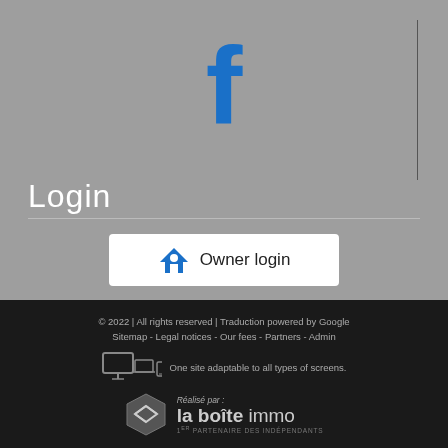[Figure (logo): Facebook 'f' logo in blue on gray background]
Login
[Figure (other): Owner login button with house icon]
© 2022 | All rights reserved | Traduction powered by Google
Sitemap - Legal notices - Our fees - Partners - Admin
One site adaptable to all types of screens.
Réalisé par : la boîte immo
1er PARTENAIRE DES INDÉPENDANTS